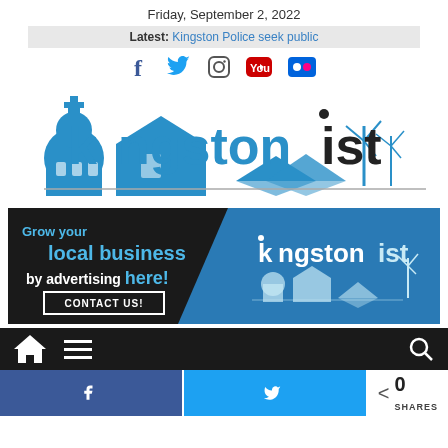Friday, September 2, 2022
Latest: Kingston Police seek public
[Figure (other): Social media icons: Facebook, Twitter, Instagram, YouTube, Flickr]
[Figure (logo): Kingstonist logo with skyline illustration including church, building, books, and wind turbines]
[Figure (other): Advertisement banner: Grow your local business by advertising here! CONTACT US! with Kingstonist logo]
[Figure (other): Navigation bar with home icon, menu icon, and search icon]
[Figure (other): Social share bar with Facebook share button, Twitter share button, and share count showing 0 SHARES]